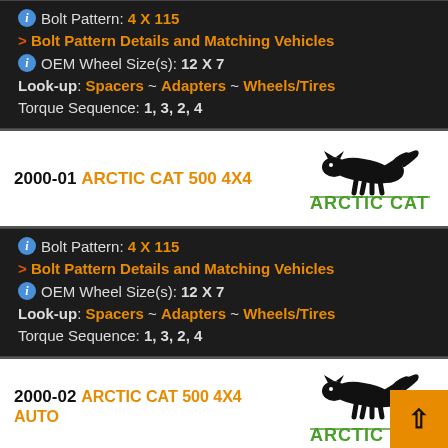Bolt Pattern: 4 X 115
> Bolt Pattern Details and Matching Vehicles
OEM Wheel Size(s): 12 X 7
Look-up: Spacers ~ Adapters ~ Wheels/Tires
Torque Sequence: 1, 3, 2, 4
2000-01 ARCTIC CAT 500 4X4
[Figure (logo): Arctic Cat logo with leaping cat silhouette and green ARCTIC CAT text]
Bolt Pattern: 4 X 115
> Bolt Pattern Details and Matching Vehicles
OEM Wheel Size(s): 12 X 7
Look-up: Spacers ~ Adapters ~ Wheels/Tires
Torque Sequence: 1, 3, 2, 4
2000-02 ARCTIC CAT 500 4X4 AUTO
[Figure (logo): Arctic Cat logo with leaping cat silhouette and green ARCTIC CAT text]
Bolt Pattern: 4 X 115
> Bolt Pattern Details and Matching Vehicles
OEM Wheel Size(s): 12 X 7